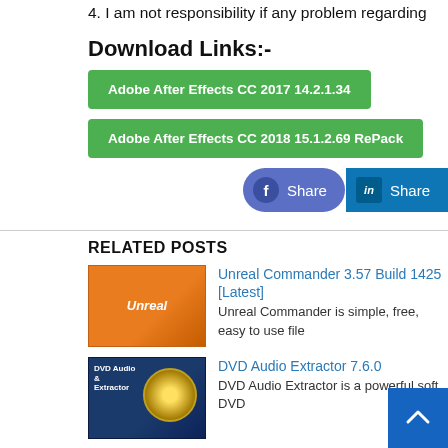4. I am not responsibility if any problem regarding
Download Links:-
Adobe After Effects CC 2017 14.2.1.34
Adobe After Effects CC 2018 15.1.2.69 RePack
[Figure (other): Facebook Share button and LinkedIn Share button]
RELATED POSTS
[Figure (photo): Unreal Commander software box image, orange colored]
Unreal Commander 3.57 Build 1425 [Latest]
Unreal Commander is simple, free, easy to use file
[Figure (photo): DVD Audio Extractor software logo, dark blue with DVD disc graphic]
DVD Audio Extractor 7.6.0
DVD Audio Extractor is a powerful soft... DVD